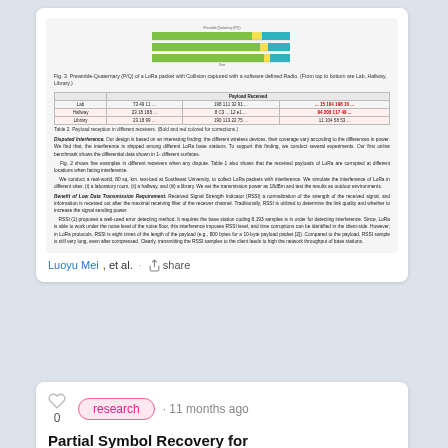[Figure (stacked-bar-chart): Preamble-to-Quaternary (P/Q) of a LoRa packet with collision, shown as colored horizontal bar charts (green, yellow, teal segments). Three rows of bars representing time sequences.]
Fig. 3. Preamble-Quaternary (P/Q) of a LoRa packet with Collision captured with a software defined Radio. (From top to bottom are Lab, Hallway, Library.)
|  | Payload Received |  |  |  |
| --- | --- | --- | --- | --- |
| Lab | 73 49 11 ... | 198 111 32 91 ... | ... 15 104 198 16 ... |
| Hallway | 23 18 188 ... | 8 C3 ... 12 e1 ... | 94 200 117 49 ... |
| Library | 23 18 99 ... | 190 113 22 75 ... | 11 104 58 53 ... |
Table 2. Payload reception in different receivers. (Bold and red colored for corrections.)
Disputed Interference. Our design is based on an interesting finding: the different wireless devices, their coverage vary according to the differences in power. We find that, the interference is shipped among different LoRa base stations. To support this finding, we conduct several experiments. Our first online benchmark shows the differential data shown in 1- different surfaces.
Fig. 2 shows five examples in different receivers when any dispute. Table 1 also shows that the received payloads of LoRa are corrupted at different locations when facing interference.
We conduct a real-world, 80 sq. km. test-bed at Southeast University, to collect LoRa packets with interference. We simulate the interference of LoRa in different sites: (i) a laboratory room, (ii) a hallway, and (iii) a library. We set the transmission power as 18dBm and test the results as outdoor environments.
Benefit of Low Data Transmission Requirement. Received Signal Strength Indicator (RSSI) a normalization of the strength of the received signal, and information is received out after the maximal receiving filter of the receiver channel. Traditionally, RSSI is utilized to determine the link quality and whether to increase the signal sending power.
RSSI (1) proposes a well-used error detecting method. It requires the base station coding 8,193 samples is in order for detecting interference. Since, LoRa is able to work under the noise level of the noise floor, this interference imposes RSSI level, and time corruptions can be identified in the client-side. However, in LoRa protocols, RSSI is eight times of the length of the payload (e.g., 800 bytes for a 10-byte payload packet [2]). Compared to the payload, RSSI sample is still very long, even after compressed. Clearly, transmitting the RSSI samples to the client leads to high the network throughput of base stations.
Luoyu Mei, et al.
research · 11 months ago
Partial Symbol Recovery for Interference Resilience in Low